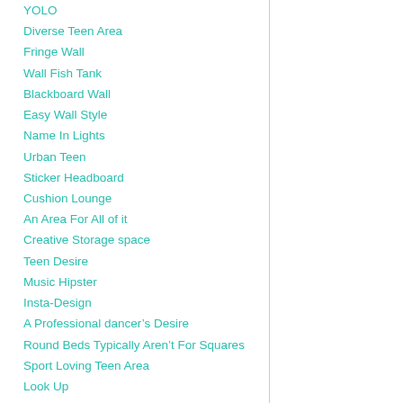YOLO
Diverse Teen Area
Fringe Wall
Wall Fish Tank
Blackboard Wall
Easy Wall Style
Name In Lights
Urban Teen
Sticker Headboard
Cushion Lounge
An Area For All of it
Creative Storage space
Teen Desire
Music Hipster
Insta-Design
A Professional dancer’s Desire
Round Beds Typically Aren’t For Squares
Sport Loving Teen Area
Look Up
Vivid + Useful
Wall surface of Memories
For the Bold, Diverse Teen